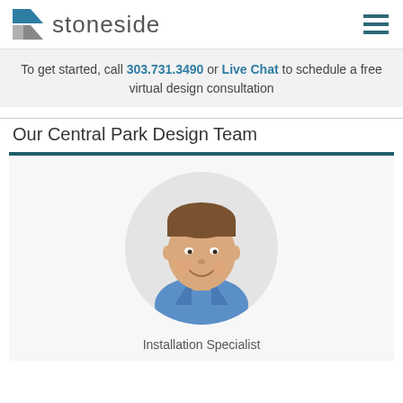stoneside
To get started, call 303.731.3490 or Live Chat to schedule a free virtual design consultation
Our Central Park Design Team
[Figure (photo): Circular profile photo of a young man smiling, wearing a blue shirt, on a light grey background]
Installation Specialist